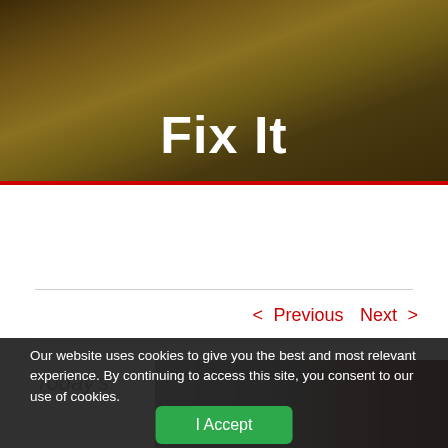[Figure (photo): Hero image of a grassy field with a person wearing sneakers and a red and white object, overlaid with the title 'Fix It' in bold white text]
Fix It
< Previous   Next >
Today's
[Figure (photo): Thumbnail image showing a dark outdoor scene with red elements]
Our website uses cookies to give you the best and most relevant experience. By continuing to access this site, you consent to our use of cookies.
I Accept